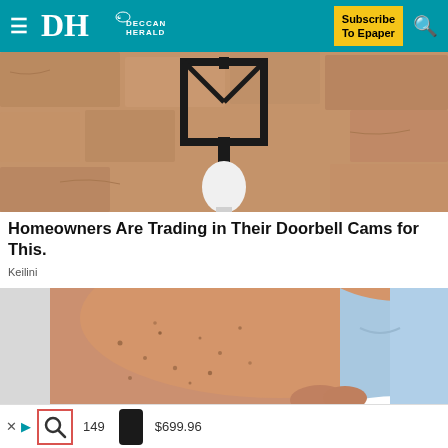Deccan Herald — Subscribe To Epaper
[Figure (photo): Close-up photo of a black metal square light fixture bracket mounted on a sandy/textured stone wall with a white light bulb visible in the center]
Homeowners Are Trading in Their Doorbell Cams for This.
Keilini
[Figure (photo): Close-up photo of a person's skin (arm/elbow area) showing rough texture with dark spots, wearing a light blue shirt, against a light background]
Advertisement bar with search icon, price 149, product image, price $699.96